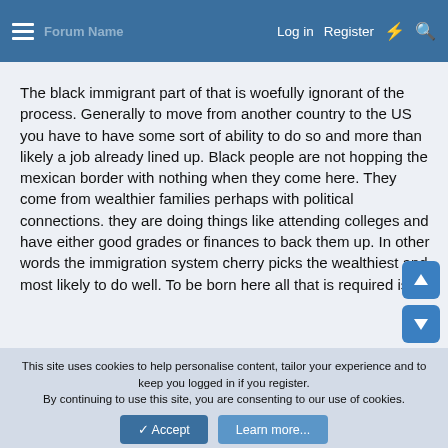Log in  Register
The black immigrant part of that is woefully ignorant of the process. Generally to move from another country to the US you have to have some sort of ability to do so and more than likely a job already lined up. Black people are not hopping the mexican border with nothing when they come here. They come from wealthier families perhaps with political connections. they are doing things like attending colleges and have either good grades or finances to back them up. In other words the immigration system cherry picks the wealthiest and most likely to do well. To be born here all that is required is you have a physically capable pair to have sex. Your assumption that the opportunities and position of american born black people to those who immigrate into america is way off.
This site uses cookies to help personalise content, tailor your experience and to keep you logged in if you register.
By continuing to use this site, you are consenting to our use of cookies.